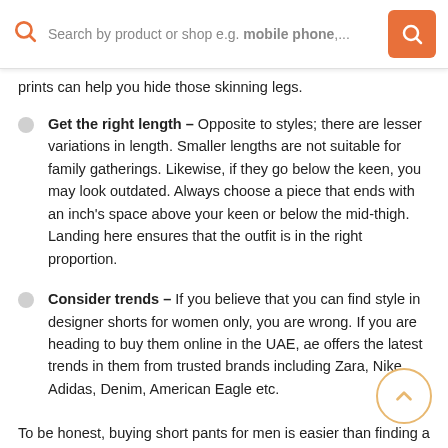[Figure (screenshot): Search bar with orange search icon on left, placeholder text 'Search by product or shop e.g. mobile phone,...', and orange search button on right]
prints can help you hide those skinning legs.
Get the right length – Opposite to styles; there are lesser variations in length. Smaller lengths are not suitable for family gatherings. Likewise, if they go below the keen, you may look outdated. Always choose a piece that ends with an inch's space above your keen or below the mid-thigh. Landing here ensures that the outfit is in the right proportion.
Consider trends – If you believe that you can find style in designer shorts for women only, you are wrong. If you are heading to buy them online in the UAE, ae offers the latest trends in them from trusted brands including Zara, Nike, Adidas, Denim, American Eagle etc.
To be honest, buying short pants for men is easier than finding a perfect pair of tops with women's cotton shorts